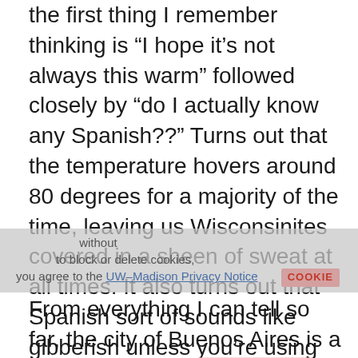the first thing I remember thinking is “I hope it’s not always this warm” followed closely by “do I actually know any Spanish??” Turns out that the temperature hovers around 80 degrees for a majority of the time, leaving us Wisconsinites covered in a sheen of sweat at all times. It also turns out that Spanish sort of sounds like gibberish unless you’re using 104% of your brain power at all times to make sure you’re not missing some super important information about I don’t know, obtaining a Visa and not getting firmly escorted out of the country.
From everything I can tell so far, the city of Buenos Aires is a place both full of life and rich with experiences and opportunities that don’t exist elsewhere in the world.